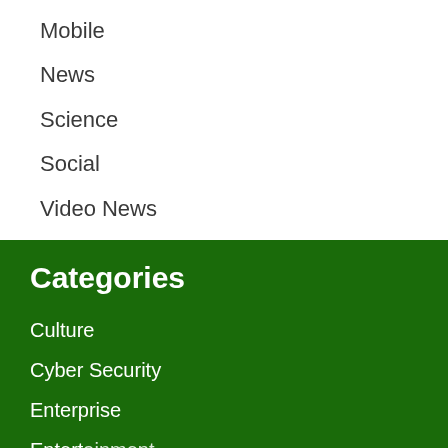Mobile
News
Science
Social
Video News
Categories
Culture
Cyber Security
Enterprise
Entertainment